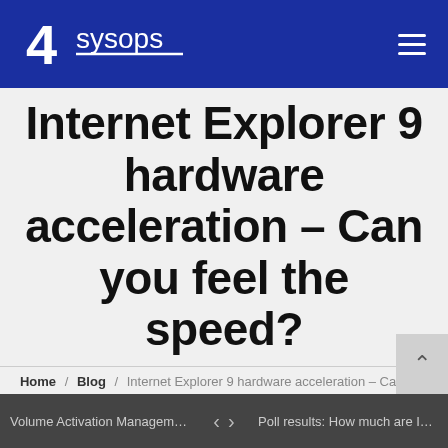4sysops
Internet Explorer 9 hardware acceleration – Can you feel the speed?
Home / Blog / Internet Explorer 9 hardware acceleration – Can you feel the speed?
4sysops - The online community for SysAdmins and DevOps
Volume Activation Management To... | Poll results: How much are IT pros ...